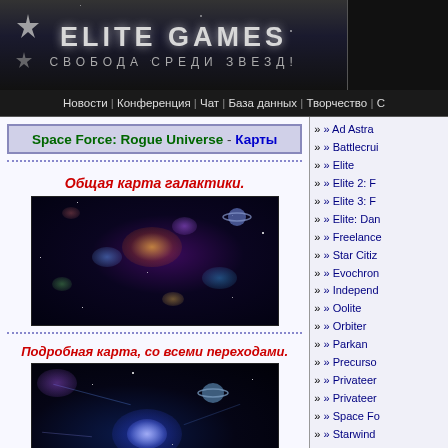ELITE GAMES — СВОБОДА СРЕДИ ЗВЕЗД!
Новости | Конференция | Чат | База данных | Творчество | С
Space Force: Rogue Universe - Карты
Общая карта галактики.
[Figure (photo): Galaxy map showing various star systems and nebulae for Space Force: Rogue Universe]
Подробная карта, со всеми переходами.
[Figure (photo): Detailed galaxy map showing all transitions/jump points for Space Force: Rogue Universe]
Политическая карта.
» Ad Astra
» Battlecrui
» Elite
» Elite 2: F
» Elite 3: F
» Elite: Dan
» Freelance
» Star Citiz
» Evochron
» Independ
» Oolite
» Orbiter
» Parkan
» Precurso
» Privateer
» Privateer
» Space Fo
» Starwind
» X-Beyond
» X-Tension
» X2:The T
» X3:Reuni
» X3:Terran
» X3: Albio
» X Rebirth
» X4: Foun
» Завтра в
» Хроники
» Космиче
» Earth& R